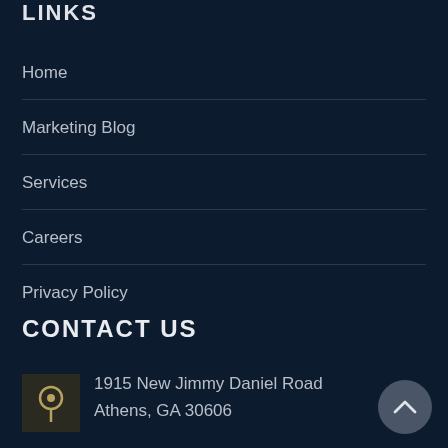LINKS
Home
Marketing Blog
Services
Careers
Privacy Policy
CONTACT US
1915 New Jimmy Daniel Road
Athens, GA 30606